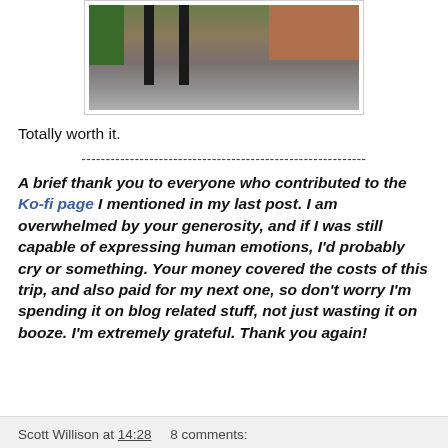[Figure (photo): Bottom portion of a photo showing brick wall, metal poles/posts, a green bin/container, and pavement/ground]
Totally worth it.
-----------------------------------------------------------
A brief thank you to everyone who contributed to the Ko-fi page I mentioned in my last post.  I am overwhelmed by your generosity, and if I was still capable of expressing human emotions, I'd probably cry or something.  Your money covered the costs of this trip, and also paid for my next one, so don't worry I'm spending it on blog related stuff, not just wasting it on booze.  I'm extremely grateful.  Thank you again!
Scott Willison at 14:28     8 comments: